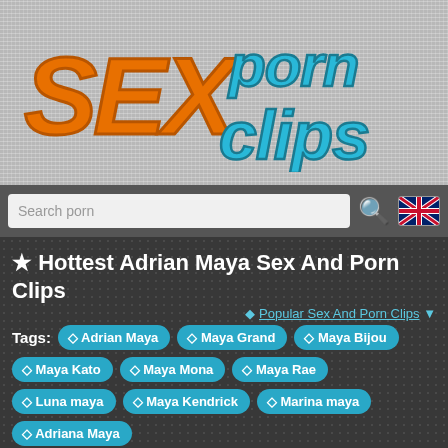[Figure (logo): SexPornClips website logo with 'SEX' in orange bubble letters and 'porn clips' in teal/blue bubble letters on gray checkered background]
Search porn
★ Hottest Adrian Maya Sex And Porn Clips
♦ Popular Sex And Porn Clips ▼
Tags: Adrian Maya  Maya Grand  Maya Bijou  Maya Kato  Maya Mona  Maya Rae  Luna maya  Maya Kendrick  Marina maya  Adriana Maya
[Figure (screenshot): Two video thumbnails at bottom with durations 08:00 and 08:01]